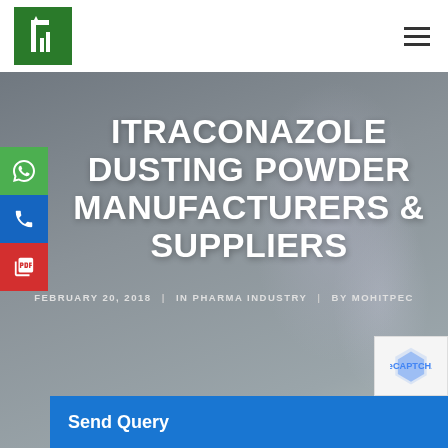[Figure (logo): Green square logo with white stylized letter/icon]
ITRACONAZOLE DUSTING POWDER MANUFACTURERS & SUPPLIERS
FEBRUARY 20, 2018  |  IN PHARMA INDUSTRY  |  BY MOHITPEC
[Figure (screenshot): Send Query button bar in blue]
[Figure (photo): Background hero image of pharmaceutical containers/powder, blurred]